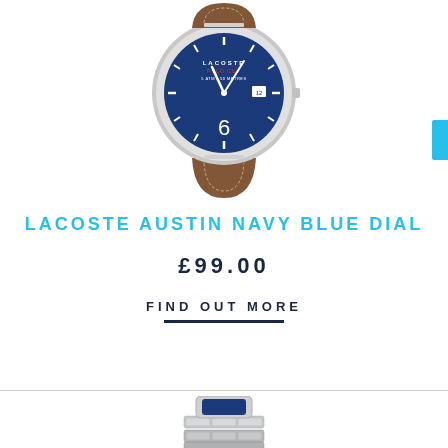[Figure (photo): Lacoste Austin watch with navy blue dial and brown leather strap, shown from the front. Silver case with white hour markers and large '6' numeral visible.]
LACOSTE AUSTIN NAVY BLUE DIAL
£99.00
FIND OUT MORE
[Figure (photo): Bottom portion of a watch with silver metal bracelet/link strap, partially visible at the bottom of the page.]